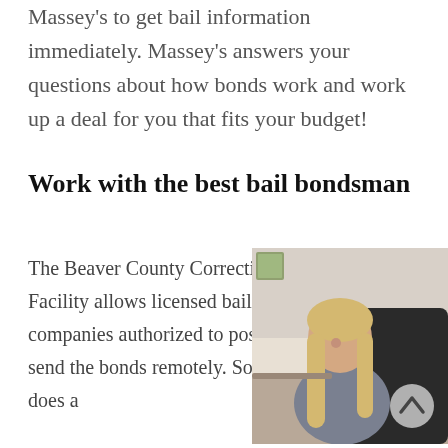Massey's to get bail information immediately. Massey's answers your questions about how bonds work and work up a deal for you that fits your budget!
Work with the best bail bondsman
The Beaver County Correctional Facility allows licensed bail bond companies authorized to post bail to send the bonds remotely. So why does a bondsman even come?
[Figure (photo): A woman with long blonde hair sitting at a desk in an office, smiling at the camera, wearing a grey top. A scroll-up arrow button overlays the bottom-right of the image.]